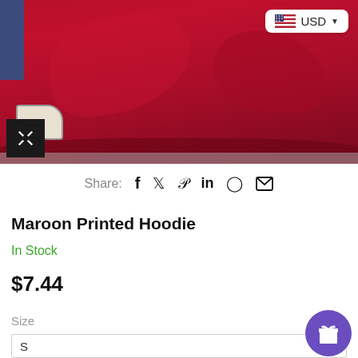[Figure (photo): Red/maroon hoodie sweatshirt product photo with sneakers visible in the corner, shot on a grey surface. A currency badge showing USD with US flag is overlaid in the top right. An expand icon button is in the bottom left of the image.]
Share: f 🐦 P in ⊕ ✉
Maroon Printed Hoodie
In Stock
$7.44
Size
S